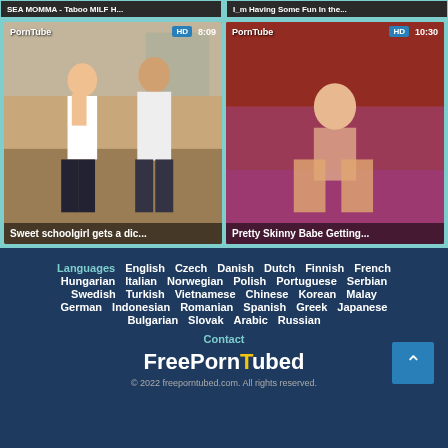[Figure (screenshot): Video thumbnail top left - truncated title bar showing partial text]
[Figure (screenshot): Video thumbnail top right - truncated title bar showing partial text]
[Figure (screenshot): Video card left: PornTube HD 8:09, Sweet schoolgirl gets a dic...]
[Figure (screenshot): Video card right: PornTube HD 10:30, Pretty Skinny Babe Getting...]
Languages English Czech Danish Dutch Finnish French Hungarian Italian Norwegian Polish Portuguese Serbian Swedish Turkish Vietnamese Chinese Korean Malay German Indonesian Romanian Spanish Greek Japanese Bulgarian Slovak Arabic Russian
Contact
FreePornTubed
© 2022 freeporntubed.com. All rights reserved.